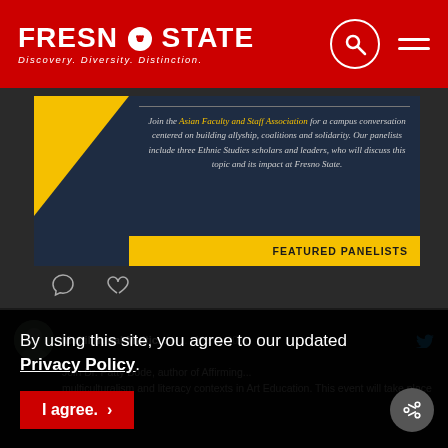FRESNO STATE — Discovery. Diversity. Distinction.
[Figure (screenshot): Social media card from Fresno State showing Asian Faculty and Staff Association campus conversation event with dark navy background, yellow triangle accent, and 'FEATURED PANELISTS' bar in yellow]
Join the Asian Faculty and Staff Association for a campus conversation centered on building allyship, coalitions and solidarity. Our panelists include three Ethnic Studies scholars and leaders, who will discuss this topic and its impact at Fresno State.
Multilingual Multic... · Mar 8, 2021
Join Dr. Patty Bode, author of Affirming... multiculturalism and literacy contexts in Art Education. This event will take place on March 12th.
By using this site, you agree to our updated Privacy Policy
I agree. >